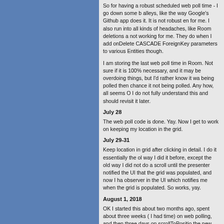So for having a robust scheduled web poll time - I go down some alleys, like the way Google's Github app does it. It is not robust enough for me. I also run into all kinds of headaches, like Room deletions and not working for me. They do when I add onDelete CASCADE ForeignKey parameters to various Entities though.
I am storing the last web poll time in Room. Not sure if it is 100% necessary, and it may be overdoing things, but I'd rather know it was being polled then chance it not being polled. Any how, all seems OK. I do not fully understand this and should revisit it later.
July 28
The web poll code is done. Yay. Now I get to work on keeping my location in the grid.
July 29-31
Keep location in grid after clicking in detail. I do it essentially the old way I did it before, except the old way I did not do a scroll until the presenter notified the UI that the grid was populated, and now I have an observer in the UI which notifies me when the grid is populated. So works, yay.
August 1, 2018
OK I started this about two months ago, spent about three weeks (when I had time) on web polling, and then three days on scrollToPosition on the new app. So I'm a little antsy to publish. I QA and QA things and they look OK. I make a release and send to another app, signing both the jar and the whole APK, as I want it to work with old and new devices. Things look OK so I send it up to internal testing on Google Play.